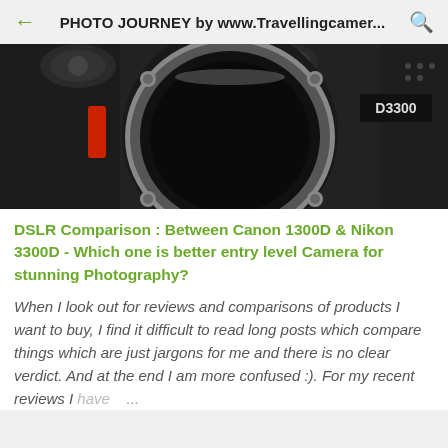PHOTO JOURNEY by www.Travellingcamer...
[Figure (photo): Close-up photo of a Nikon D3300 DSLR camera body showing the lens mount opening, mode dial, and camera grip with a red accent stripe.]
DSLR Comparison : Between Canon 1300D & Nikon 3300D - Which one is better entry level Camera for stunning Photography?
When I look out for reviews and comparisons of products I want to buy, I find it difficult to read long posts which compare things which are just jargons for me and there is no clear verdict. And at the end I am more confused :). For my recent reviews I have ...
Blog Archive
About Travellingcamera.com